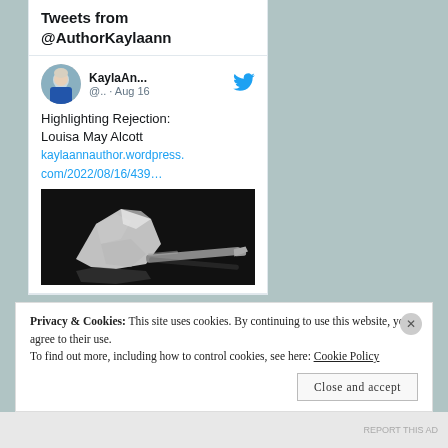Tweets from @AuthorKaylaann
KaylaAn... @.. · Aug 16
Highlighting Rejection: Louisa May Alcott kaylaannauthor.wordpress.com/2022/08/16/439…
[Figure (photo): Black and white photo of a crumpled piece of paper and a pen on a dark reflective surface]
Privacy & Cookies: This site uses cookies. By continuing to use this website, you agree to their use.
To find out more, including how to control cookies, see here: Cookie Policy
Close and accept